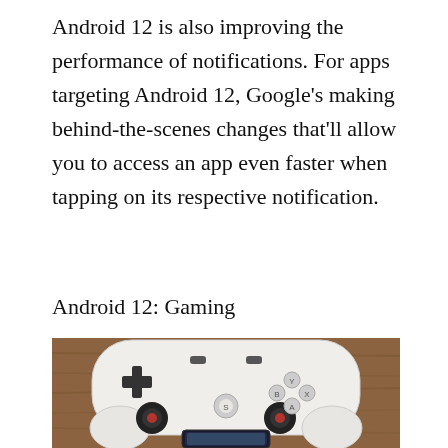Android 12 is also improving the performance of notifications. For apps targeting Android 12, Google's making behind-the-scenes changes that'll allow you to access an app even faster when tapping on its respective notification.
Android 12: Gaming
[Figure (photo): Top-down view of a white Google Stadia game controller resting on a wooden surface, with a smartphone visible at the bottom of the controller.]